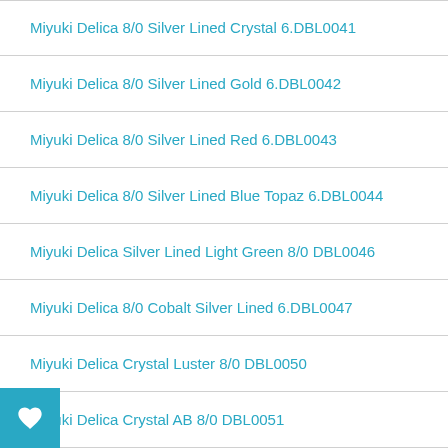Miyuki Delica 8/0 Silver Lined Crystal 6.DBL0041
Miyuki Delica 8/0 Silver Lined Gold 6.DBL0042
Miyuki Delica 8/0 Silver Lined Red 6.DBL0043
Miyuki Delica 8/0 Silver Lined Blue Topaz 6.DBL0044
Miyuki Delica Silver Lined Light Green 8/0 DBL0046
Miyuki Delica 8/0 Cobalt Silver Lined 6.DBL0047
Miyuki Delica Crystal Luster 8/0 DBL0050
Miyuki Delica Crystal AB 8/0 DBL0051
Miyuki Delica Raspberry Lined Topaz 8/0 DBL0062
Miyuki Delica Amber Inside Color Lined Topaz 8/0